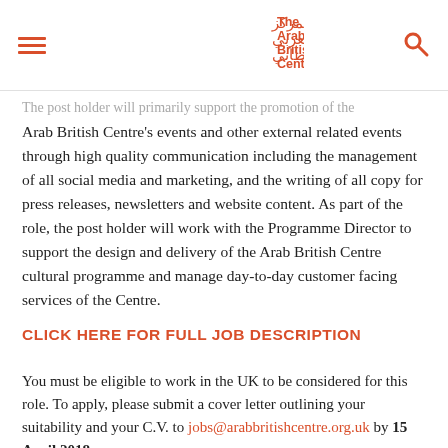The Arab British Centre
The post holder will primarily support the promotion of the Arab British Centre's events and other external related events through high quality communication including the management of all social media and marketing, and the writing of all copy for press releases, newsletters and website content. As part of the role, the post holder will work with the Programme Director to support the design and delivery of the Arab British Centre cultural programme and manage day-to-day customer facing services of the Centre.
CLICK HERE FOR FULL JOB DESCRIPTION
You must be eligible to work in the UK to be considered for this role. To apply, please submit a cover letter outlining your suitability and your C.V. to jobs@arabbritishcentre.org.uk by 15 April 2018.
Interviews will take place at The Arab British Centre, 1